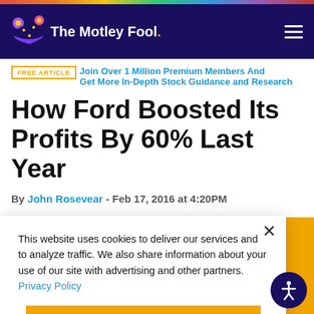The Motley Fool
FREE ARTICLE | Join Over 1 Million Premium Members And Get More In-Depth Stock Guidance and Research
How Ford Boosted Its Profits By 60% Last Year
By John Rosevear - Feb 17, 2016 at 4:20PM
This website uses cookies to deliver our services and to analyze traffic. We also share information about your use of our site with advertising and other partners. Privacy Policy
Got it
Cookie Settings